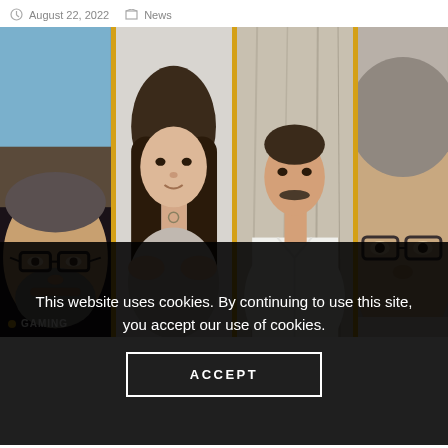August 22, 2022   News
[Figure (photo): A collage of four person portraits separated by gold/yellow vertical dividers. From left: older bearded man with glasses in close-up; young woman with long dark hair and arms crossed; young man in white shirt standing; older man with glasses in close-up. A 'GAMING' label appears at the bottom left.]
This website uses cookies. By continuing to use this site, you accept our use of cookies.
ACCEPT